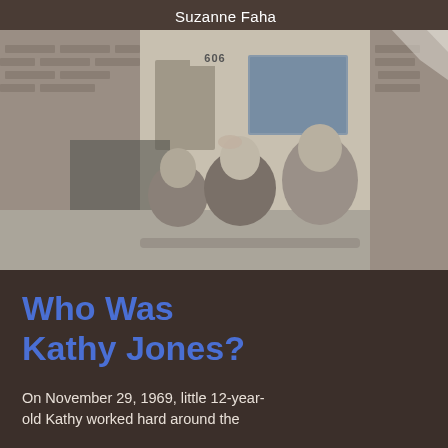Suzanne Faha
[Figure (photo): Black and white vintage photograph of three children sitting together outside a brick building with address number 606 visible above the door. Two girls and a younger boy are posed together, smiling.]
Who Was Kathy Jones?
On November 29, 1969, little 12-year-old Kathy worked hard around the